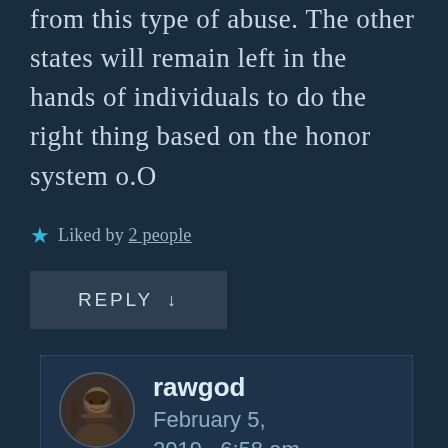from this type of abuse. The other states will remain left in the hands of individuals to do the right thing based on the honor system o.O
Liked by 2 people
REPLY ↓
rawgod
February 5, 2019 · 6:58 am
Women legislators are no